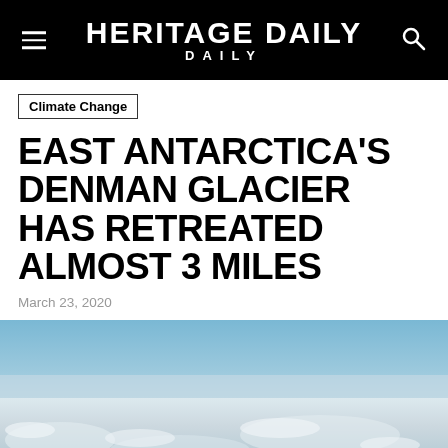HERITAGE DAILY
Climate Change
EAST ANTARCTICA'S DENMAN GLACIER HAS RETREATED ALMOST 3 MILES
March 23, 2020
[Figure (photo): Aerial view of Antarctic ice sheet with blue sky above and snow/ice surface below, showing vast icy expanse]